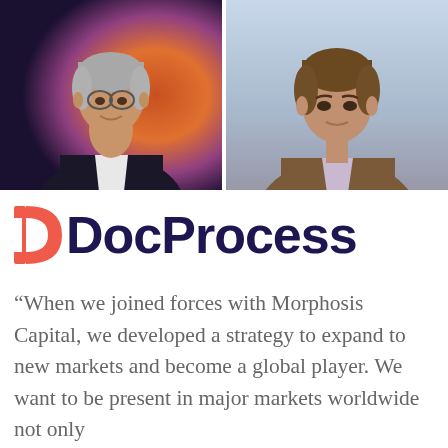[Figure (photo): Two side-by-side professional headshot photos. Left: older man with grey hair wearing a dark suit and white shirt, colorful artwork in background. Right: middle-aged man with brown hair wearing a brown jacket and checked shirt, light blue background.]
[Figure (logo): DocProcess logo: a stylized letter D icon in coral/salmon red on the left, followed by the word 'DocProcess' in large dark navy bold sans-serif text.]
“When we joined forces with Morphosis Capital, we developed a strategy to expand to new markets and become a global player. We want to be present in major markets worldwide not only